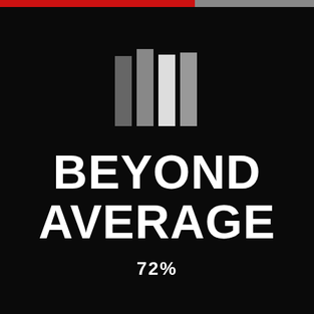[Figure (logo): Four vertical bars logo in shades of gray and white, resembling a bar chart or brand mark]
BEYOND AVERAGE
72%